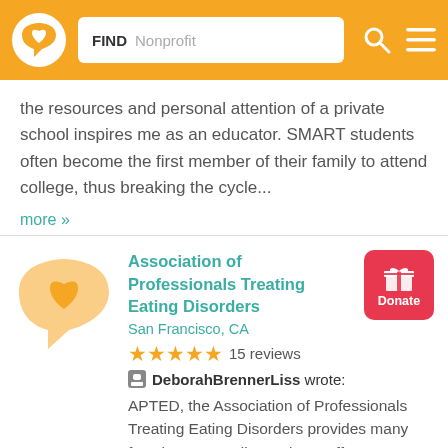[Figure (screenshot): Website header with orange background, circular logo with heart, search bar reading FIND Nonprofit, search icon and hamburger menu]
the resources and personal attention of a private school inspires me as an educator. SMART students often become the first member of their family to attend college, thus breaking the cycle...
more »
Association of Professionals Treating Eating Disorders
San Francisco, CA
15 reviews
DeborahBrennerLiss wrote:
APTED, the Association of Professionals Treating Eating Disorders provides many functions. Overall, we aim to offer